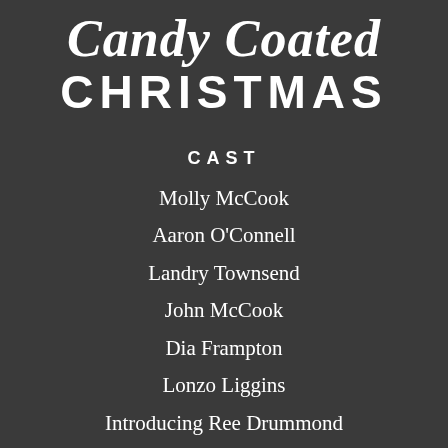Candy Coated CHRISTMAS
CAST
Molly McCook
Aaron O'Connell
Landry Townsend
John McCook
Dia Frampton
Lonzo Liggins
Introducing Ree Drummond
with Jae Suh Park